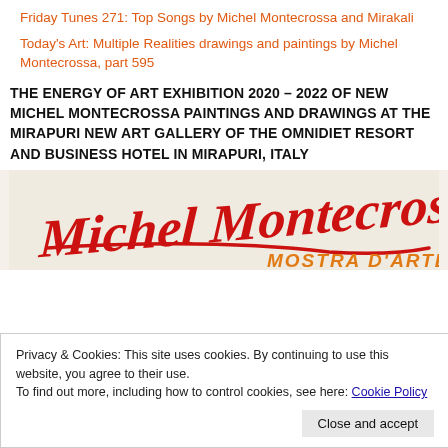Friday Tunes 271: Top Songs by Michel Montecrossa and Mirakali
Today's Art: Multiple Realities drawings and paintings by Michel Montecrossa, part 595
THE ENERGY OF ART EXHIBITION 2020 – 2022 OF NEW MICHEL MONTECROSSA PAINTINGS AND DRAWINGS AT THE MIRAPURI NEW ART GALLERY OF THE OMNIDIET RESORT AND BUSINESS HOTEL IN MIRAPURI, ITALY
[Figure (illustration): Michel Montecrossa signature in red brush script with 'MOSTRA D'ARTE' text in orange on a textured background]
Privacy & Cookies: This site uses cookies. By continuing to use this website, you agree to their use.
To find out more, including how to control cookies, see here: Cookie Policy
Close and accept